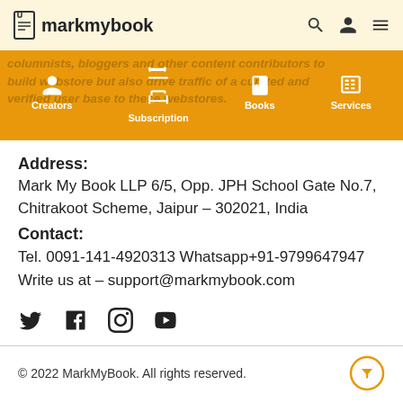markmybook
[Figure (screenshot): Navigation bar with orange background showing Creators, Subscription, Books, Services icons and background text about columnists, bloggers and other content contributors]
Address:
Mark My Book LLP 6/5, Opp. JPH School Gate No.7, Chitrakoot Scheme, Jaipur – 302021, India
Contact:
Tel. 0091-141-4920313 Whatsapp+91-9799647947
Write us at – support@markmybook.com
[Figure (infographic): Social media icons row: Twitter, Facebook, Instagram, YouTube]
© 2022 MarkMyBook. All rights reserved.